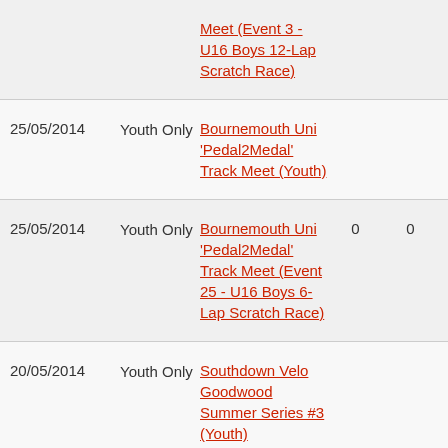| Date | Category | Event |  |  |
| --- | --- | --- | --- | --- |
|  |  | Meet (Event 3 - U16 Boys 12-Lap Scratch Race) |  |  |
| 25/05/2014 | Youth Only | Bournemouth Uni 'Pedal2Medal' Track Meet (Youth) |  |  |
| 25/05/2014 | Youth Only | Bournemouth Uni 'Pedal2Medal' Track Meet (Event 25 - U16 Boys 6-Lap Scratch Race) | 0 | 0 |
| 20/05/2014 | Youth Only | Southdown Velo Goodwood Summer Series #3 (Youth) |  |  |